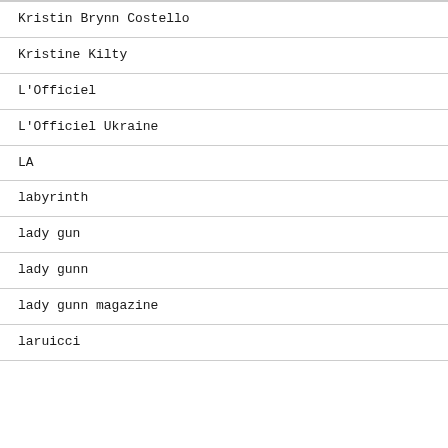Kristin Brynn Costello
Kristine Kilty
L'Officiel
L'Officiel Ukraine
LA
labyrinth
lady gun
lady gunn
lady gunn magazine
laruicci
...